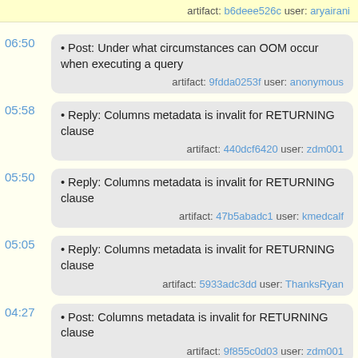artifact: b6deee526c user: aryairani
06:50 • Post: Under what circumstances can OOM occur when executing a query artifact: 9fdda0253f user: anonymous
05:58 • Reply: Columns metadata is invalit for RETURNING clause artifact: 440dcf6420 user: zdm001
05:50 • Reply: Columns metadata is invalit for RETURNING clause artifact: 47b5abadc1 user: kmedcalf
05:05 • Reply: Columns metadata is invalit for RETURNING clause artifact: 5933adc3dd user: ThanksRyan
04:27 • Post: Columns metadata is invalit for RETURNING clause artifact: 9f855c0d03 user: zdm001
03:46 • Reply: Including decimal.c in compiled binary